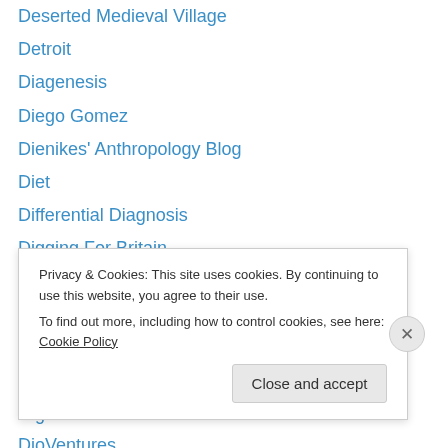Deserted Medieval Village
Detroit
Diagenesis
Diego Gomez
Dienikes' Anthropology Blog
Diet
Differential Diagnosis
Digging For Britain
Digital Cultural
Digital Culture
Digital Media
Digitised Diseases
Digitised Diseases Model
DioVentures
Privacy & Cookies: This site uses cookies. By continuing to use this website, you agree to their use.
To find out more, including how to control cookies, see here: Cookie Policy
[Close and accept]